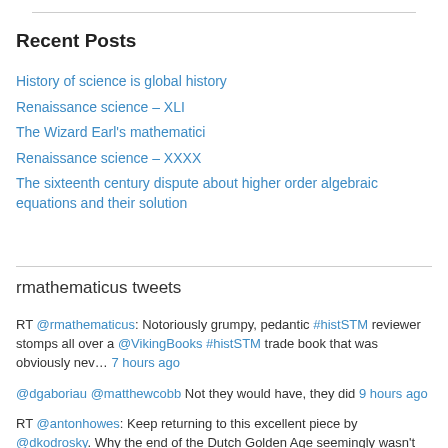Recent Posts
History of science is global history
Renaissance science – XLI
The Wizard Earl's mathematici
Renaissance science – XXXX
The sixteenth century dispute about higher order algebraic equations and their solution
rmathematicus tweets
RT @rmathematicus: Notoriously grumpy, pedantic #histSTM reviewer stomps all over a @VikingBooks #histSTM trade book that was obviously nev… 7 hours ago
@dgaboriau @matthewcobb Not they would have, they did 9 hours ago
RT @antonhowes: Keep returning to this excellent piece by @dkodrosky. Why the end of the Dutch Golden Age seemingly wasn't